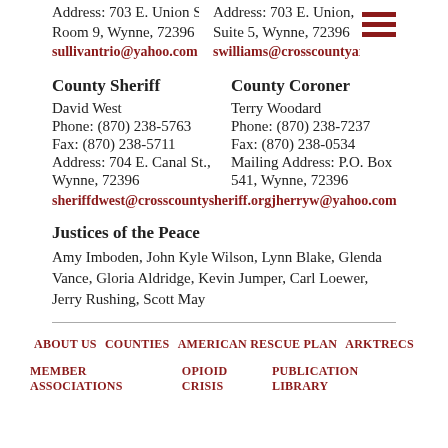Address: 703 E. Union St., Room 9, Wynne, 72396
sullivantrio@yahoo.com
Address: 703 E. Union, Suite 5, Wynne, 72396
swilliams@crosscountyar.or
County Sheriff
David West
Phone: (870) 238-5763
Fax: (870) 238-5711
Address: 704 E. Canal St., Wynne, 72396
sheriffdwest@crosscountysheriff.org
County Coroner
Terry Woodard
Phone: (870) 238-7237
Fax: (870) 238-0534
Mailing Address: P.O. Box 541, Wynne, 72396
jherryw@yahoo.com
Justices of the Peace
Amy Imboden, John Kyle Wilson, Lynn Blake, Glenda Vance, Gloria Aldridge, Kevin Jumper, Carl Loewer, Jerry Rushing, Scott May
ABOUT US   COUNTIES   AMERICAN RESCUE PLAN   ARKTRECS   MEMBER ASSOCIATIONS   OPIOID CRISIS   PUBLICATION LIBRARY